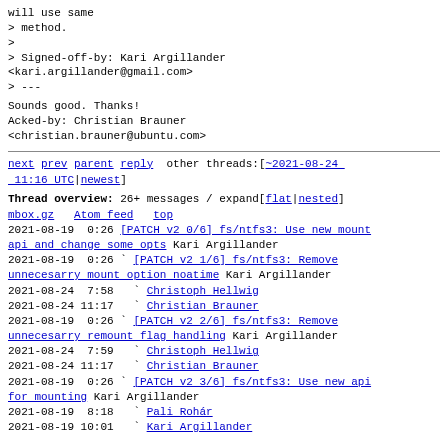will use same
> method.
>
> Signed-off-by: Kari Argillander <kari.argillander@gmail.com>
> ---
Sounds good. Thanks!
Acked-by: Christian Brauner <christian.brauner@ubuntu.com>
next prev parent reply  other threads:[~2021-08-24 11:16 UTC|newest]
Thread overview: 26+ messages / expand[flat|nested] mbox.gz  Atom feed  top
2021-08-19  0:26 [PATCH v2 0/6] fs/ntfs3: Use new mount api and change some opts Kari Argillander
2021-08-19  0:26 ` [PATCH v2 1/6] fs/ntfs3: Remove unnecesarry mount option noatime Kari Argillander
2021-08-24  7:58   ` Christoph Hellwig
2021-08-24 11:17   ` Christian Brauner
2021-08-19  0:26 ` [PATCH v2 2/6] fs/ntfs3: Remove unnecesarry remount flag handling Kari Argillander
2021-08-24  7:59   ` Christoph Hellwig
2021-08-24 11:17   ` Christian Brauner
2021-08-19  0:26 ` [PATCH v2 3/6] fs/ntfs3: Use new api for mounting Kari Argillander
2021-08-19  8:18   ` Pali Rohár
2021-08-19 10:01   ` Kari Argillander